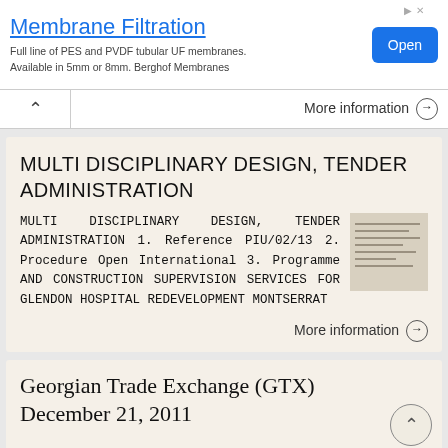[Figure (screenshot): Advertisement banner for Membrane Filtration — Berghof Membranes, with Open button]
Membrane Filtration
Full line of PES and PVDF tubular UF membranes. Available in 5mm or 8mm. Berghof Membranes
More information ➔
MULTI DISCIPLINARY DESIGN, TENDER ADMINISTRATION
MULTI DISCIPLINARY DESIGN, TENDER ADMINISTRATION 1. Reference PIU/02/13 2. Procedure Open International 3. Programme AND CONSTRUCTION SUPERVISION SERVICES FOR GLENDON HOSPITAL REDEVELOPMENT MONTSERRAT
More information ➔
Georgian Trade Exchange (GTX) December 21, 2011